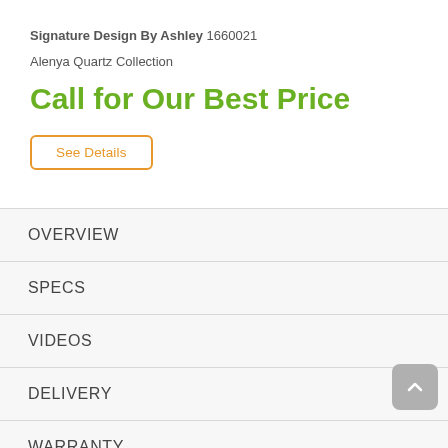Signature Design By Ashley 1660021
Alenya Quartz Collection
Call for Our Best Price
See Details
OVERVIEW
SPECS
VIDEOS
DELIVERY
WARRANTY